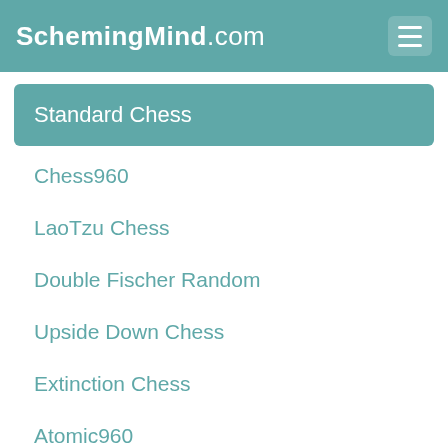SchemingMind.com
Standard Chess
Chess960
LaoTzu Chess
Double Fischer Random
Upside Down Chess
Extinction Chess
Atomic960
Shatranj
SunTzu Chess
CrazyHouse960